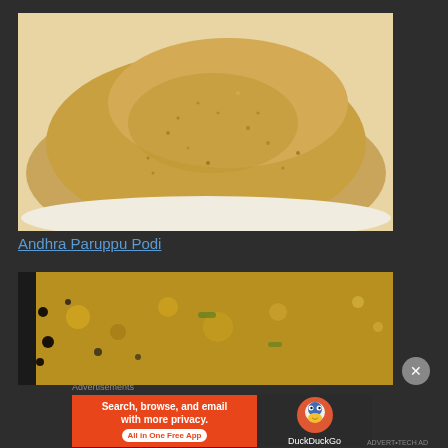[Figure (photo): Close-up photo of Andhra Paruppu Podi, a dry beige/tan colored spice powder piled on a white surface]
Andhra Paruppu Podi
[Figure (photo): Photo of a yellow/green curry or dal dish cooking in a pan with mustard seeds and vegetables visible]
Advertisements
[Figure (screenshot): DuckDuckGo advertisement banner: Search, browse, and email with more privacy. All in One Free App - DuckDuckGo logo on dark background]